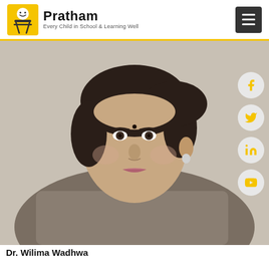Pratham — Every Child in School & Learning Well
[Figure (photo): Portrait photo of Dr. Wilima Wadhwa, a middle-aged woman with dark hair, wearing a patterned outfit, photographed indoors]
Dr. Wilima Wadhwa